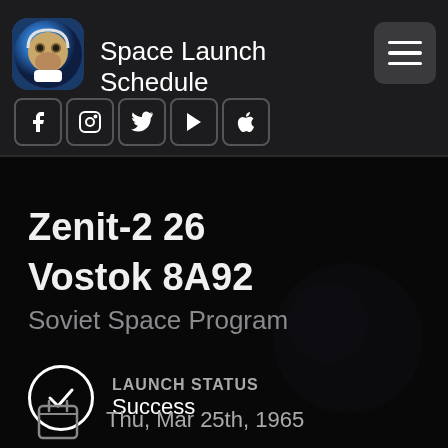Space Launch Schedule
Zenit-2 26
Vostok 8A92
Soviet Space Program
LAUNCH STATUS
Success
Thu, Mar 25th, 1965